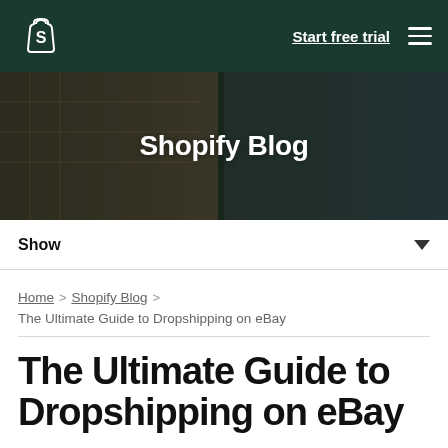Start free trial
[Figure (photo): Hero banner image of a clothing store/rack with text 'Shopify Blog' overlaid in white on a dark overlay]
Shopify Blog
Show
Home > Shopify Blog > The Ultimate Guide to Dropshipping on eBay
The Ultimate Guide to Dropshipping on eBay